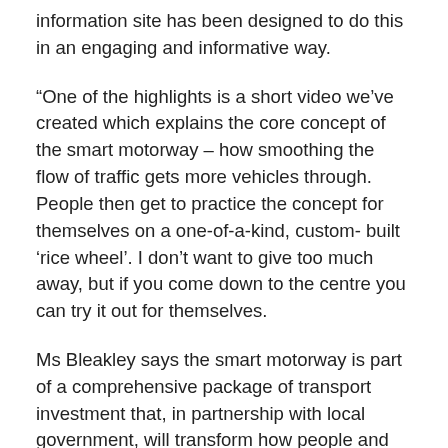information site has been designed to do this in an engaging and informative way.
“One of the highlights is a short video we’ve created which explains the core concept of the smart motorway – how smoothing the flow of traffic gets more vehicles through. People then get to practice the concept for themselves on a one-of-a-kind, custom- built ‘rice wheel’. I don’t want to give too much away, but if you come down to the centre you can try it out for themselves.
Ms Bleakley says the smart motorway is part of a comprehensive package of transport investment that, in partnership with local government, will transform how people and goods get around the Wellington region. This includes the Wellington Northern Corridor, the Petone to Grenada project, upgrades to the Johnsonville transport network in partnership with Wellington City Council, a proposed shared pathway between Wellington and Hutt